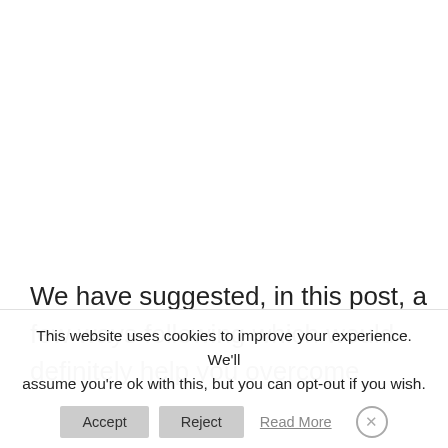We have suggested, in this post, a few ways following which would definitely help you overcome
This website uses cookies to improve your experience. We'll assume you're ok with this, but you can opt-out if you wish.